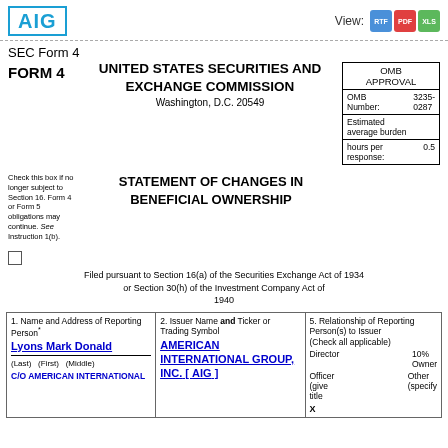[Figure (logo): AIG logo in blue box]
View: RTF PDF XLS
SEC Form 4
FORM 4   UNITED STATES SECURITIES AND EXCHANGE COMMISSION
Washington, D.C. 20549
| OMB APPROVAL |
| OMB Number: | 3235-0287 |
| Estimated average burden hours per response: | 0.5 |
Check this box if no longer subject to Section 16. Form 4 or Form 5 obligations may continue. See Instruction 1(b).
STATEMENT OF CHANGES IN BENEFICIAL OWNERSHIP
Filed pursuant to Section 16(a) of the Securities Exchange Act of 1934 or Section 30(h) of the Investment Company Act of 1940
| 1. Name and Address of Reporting Person* | 2. Issuer Name and Ticker or Trading Symbol | 5. Relationship of Reporting Person(s) to Issuer |
| --- | --- | --- |
| Lyons Mark Donald | AMERICAN INTERNATIONAL GROUP, INC. [ AIG ] | Director / 10% Owner / Officer (give title) / Other (specify) |
| (Last)  (First)  (Middle) |  |  |
| C/O AMERICAN INTERNATIONAL |  | X Officer (give title) / Other (specify) |